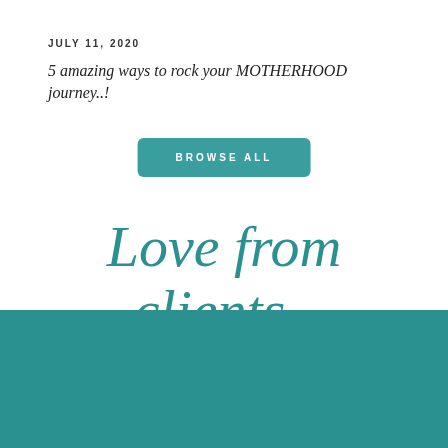JULY 11, 2020
5 amazing ways to rock your MOTHERHOOD journey..!
BROWSE ALL
Love from clients..
Urvashi has a real inner talent, that makes the process so relaxed and beneficial. I personally felt this during one of my sessions, all her sessions are led with integrity and passion
G.S